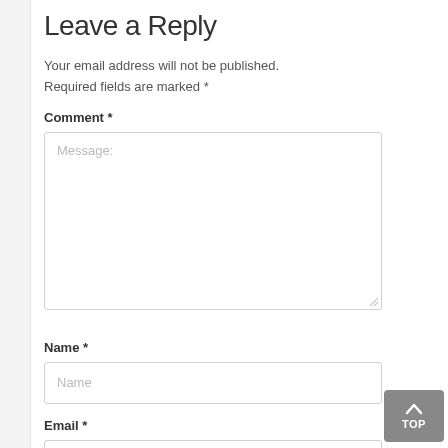Leave a Reply
Your email address will not be published. Required fields are marked *
Comment *
[Figure (screenshot): A large textarea input box with placeholder text 'Message:' and a resize handle at the bottom right]
Name *
[Figure (screenshot): A text input field with placeholder text 'Name']
Email *
[Figure (screenshot): A text input field with placeholder text 'Email']